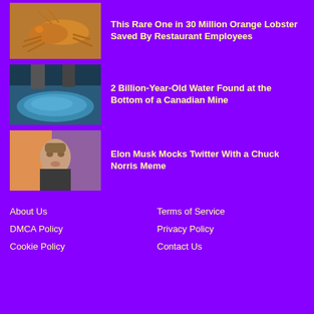[Figure (photo): Orange lobster photo thumbnail]
This Rare One in 30 Million Orange Lobster Saved By Restaurant Employees
[Figure (photo): Blue water at bottom of a mine]
2 Billion-Year-Old Water Found at the Bottom of a Canadian Mine
[Figure (photo): Elon Musk portrait photo]
Elon Musk Mocks Twitter With a Chuck Norris Meme
About Us   Terms of Service   DMCA Policy   Privacy Policy   Cookie Policy   Contact Us